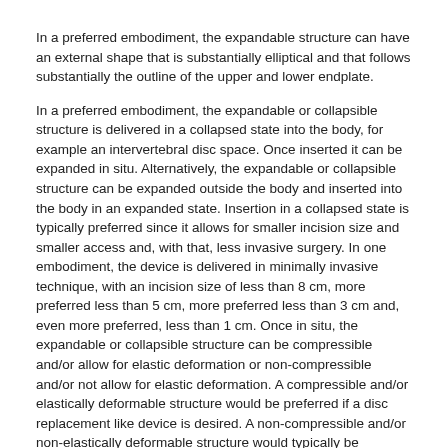In a preferred embodiment, the expandable structure can have an external shape that is substantially elliptical and that follows substantially the outline of the upper and lower endplate.
In a preferred embodiment, the expandable or collapsible structure is delivered in a collapsed state into the body, for example an intervertebral disc space. Once inserted it can be expanded in situ. Alternatively, the expandable or collapsible structure can be expanded outside the body and inserted into the body in an expanded state. Insertion in a collapsed state is typically preferred since it allows for smaller incision size and smaller access and, with that, less invasive surgery. In one embodiment, the device is delivered in minimally invasive technique, with an incision size of less than 8 cm, more preferred less than 5 cm, more preferred less than 3 cm and, even more preferred, less than 1 cm. Once in situ, the expandable or collapsible structure can be compressible and/or allow for elastic deformation or non-compressible and/or not allow for elastic deformation. A compressible and/or elastically deformable structure would be preferred if a disc replacement like device is desired. A non-compressible and/or non-elastically deformable structure would typically be preferred of a spinal fusion device is desired.
As the spine, and with it the device is loaded, forces that are transmitted in superior to inferior direction will result in forces in lateral, anterior and